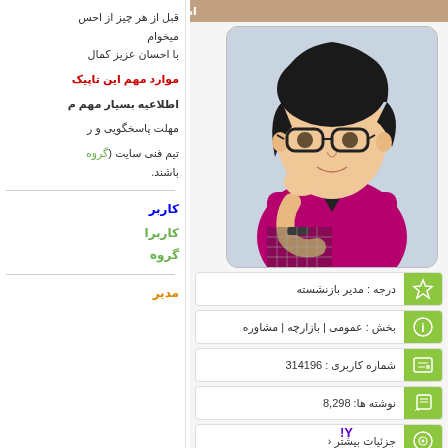قبل از هر چیز از احساس میخوام با احسان عزیز کمال
موارد مهم این تاپیک
اطلاعیه بسیار مهم م
مهلت پاسخگویی و ر
تیم فنی سایت (گروه باشند.
کاربر
کاربرا
گروه
مدیر
[Figure (illustration): Cartoon/vector illustration of a young man with glasses, dark hair, wearing a magenta/pink shirt, in a thinking pose]
| ☆ | درجه : مدیر بازنشسته |
| i | بخش : عمومی | بازارچه | مشاوره |
| ▤ | شماره کاربری : 314196 |
| ✎ | نوشته ها: 8,298 |
| ◉ | جزئیات بیشتر ‹ |